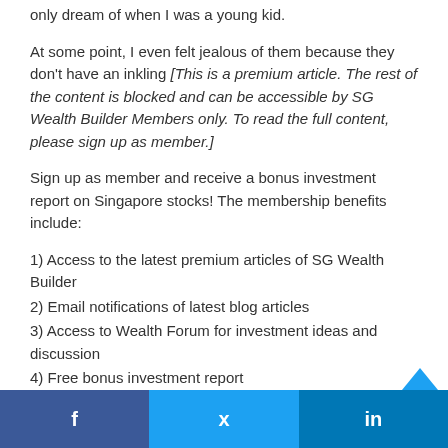only dream of when I was a young kid.
At some point, I even felt jealous of them because they don't have an inkling [This is a premium article. The rest of the content is blocked and can be accessible by SG Wealth Builder Members only. To read the full content, please sign up as member.]
Sign up as member and receive a bonus investment report on Singapore stocks! The membership benefits include:
1) Access to the latest premium articles of SG Wealth Builder
2) Email notifications of latest blog articles
3) Access to Wealth Forum for investment ideas and discussion
4) Free bonus investment report
5) Request for coverage on stocks, insurance and other personal financial topics
6) Comment in articles and Wealth Forum...